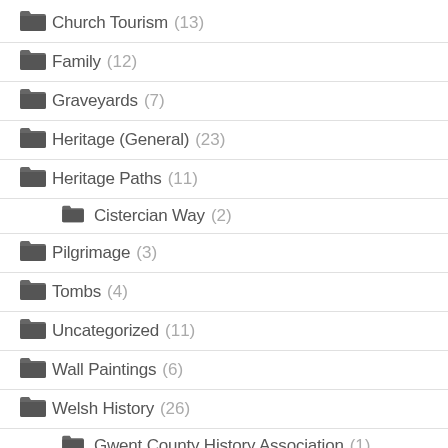Church Tourism (13)
Family (12)
Graveyards (7)
Heritage (General) (23)
Heritage Paths (11)
Cistercian Way (2)
Pilgrimage (3)
Tombs (4)
Uncategorized (11)
Wall Paintings (6)
Welsh History (26)
Gwent County History Association (1)